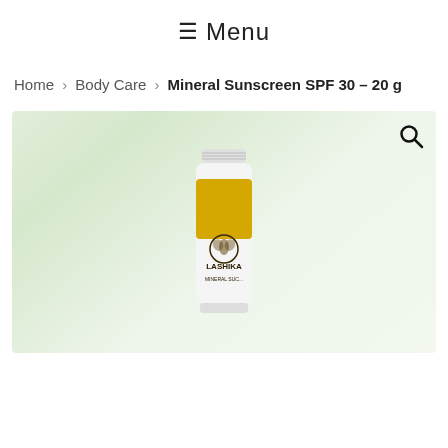≡ Menu
Home › Body Care › Mineral Sunscreen SPF 30 – 20 g
[Figure (photo): Product photo of Lashika Mineral Sunscreen SPF 30 – 20g tube with white body and yellow label on a light green gradient background. A search icon is visible in the top right corner of the image.]